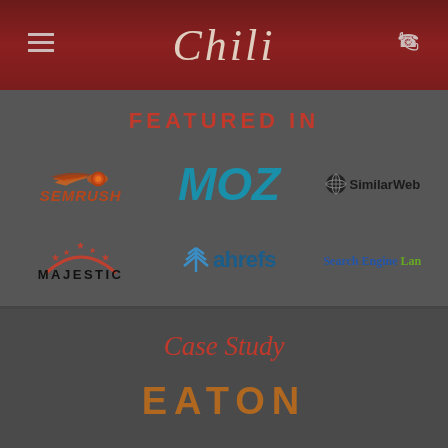Chili
FEATURED IN
[Figure (logo): SEMRush logo with orange rocket/flame icon and italic orange text]
[Figure (logo): MOZ logo in teal bold italic text]
[Figure (logo): SimilarWeb logo with dark globe icon and dark text]
[Figure (logo): Majestic logo with red arch and stars, bold black text]
[Figure (logo): ahrefs logo with blue icon and dark blue text]
[Figure (logo): Search Engine Land logo in blue and green text]
Case Study
[Figure (logo): Eaton logo in orange/brown bold uppercase letters]
[Figure (logo): Partial logo at bottom, cut off]